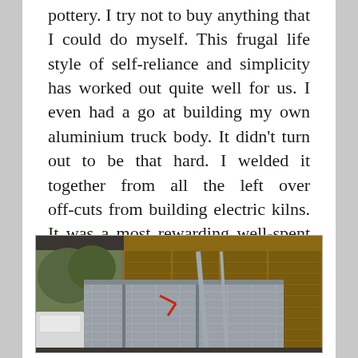pottery. I try not to buy anything that I could do myself. This frugal life style of self-reliance and simplicity has worked out quite well for us. I even had a go at building my own aluminium truck body. It didn't turn out to be that hard. I welded it together from all the left over off-cuts from building electric kilns. It was a most rewarding well-spent week.
[Figure (photo): Photo of an aluminium truck body/tray inside a shed or building with brick walls visible in the background. The truck tray shows diamond-plate aluminium panels. A white vehicle is partially visible on the left side.]